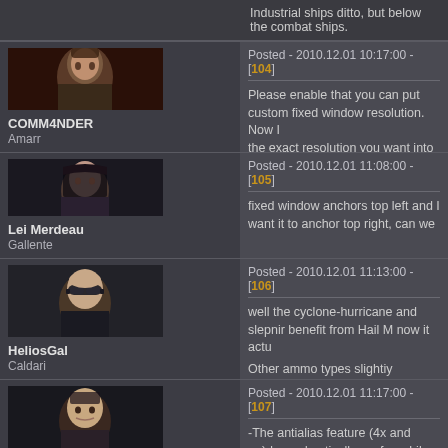Industrial ships ditto, but below the combat ships.
Posted - 2010.12.01 10:17:00 - [104]
[Figure (photo): Avatar of COMM4NDER, dark dramatic portrait]
COMM4NDER
Amarr
Please enable that you can put custom fixed window resolution. Now I the exact resolution you want into fixed window mode :)
Posted - 2010.12.01 11:08:00 - [105]
[Figure (photo): Avatar of Lei Merdeau, dark hair portrait]
Lei Merdeau
Gallente
fixed window anchors top left and I want it to anchor top right, can we
Posted - 2010.12.01 11:13:00 - [106]
[Figure (photo): Avatar of HeliosGal, bald person with sunglasses]
HeliosGal
Caldari
well the cyclone-hurricane and slepnir benefit from Hail M now it actu
Other ammo types slightly improved tracking penalties should be remo
Posted - 2010.12.01 11:17:00 - [107]
[Figure (photo): Avatar of Junky Joker, male portrait]
Junky Joker
-The antialias feature (4x and up)drops drastically my fps while, witho
-The Noctis ROCKS! Really well made salvaging ship, really usefull t
-Nice rightclick menu.
-Some graphic issues with my Megathron Navy Issue: odd shader beha